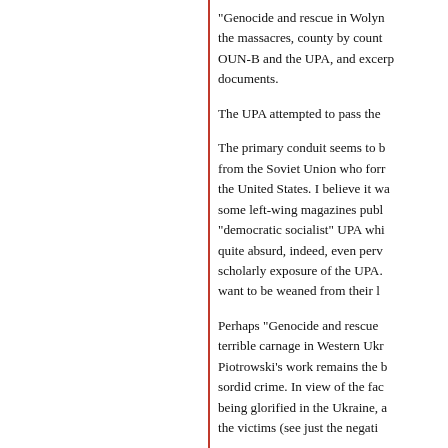“Genocide and rescue in Wolyn” the massacres, county by count OUN-B and the UPA, and excerp documents.
The UPA attempted to pass the
The primary conduit seems to b from the Soviet Union who forr the United States. I believe it wa some left-wing magazines publ “democratic socialist” UPA whi quite absurd, indeed, even perv scholarly exposure of the UPA. want to be weaned from their l
Perhaps “Genocide and rescue terrible carnage in Western Ukr Piotrowski’s work remains the b sordid crime. In view of the fac being glorified in the Ukraine, a the victims (see just the negati